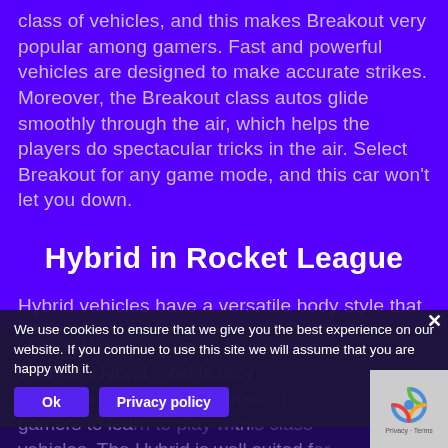class of vehicles, and this makes Breakout very popular among gamers. Fast and powerful vehicles are designed to make accurate strikes. Moreover, the Breakout class autos glide smoothly through the air, which helps the players do spectacular tricks in the air. Select Breakout for any game mode, and this car won't let you down.
Hybrid in Rocket League
Hybrid vehicles have a versatile body style that allows gamers to easier to ... League. Hybrid ... feel is very similar to the Dominus, allowing gamers to learn to play with this class vehicles. The Hybrid is well suited for ...
We use cookies to ensure that we give you the best experience on our website. If you continue to use this site we will assume that you are happy with it.